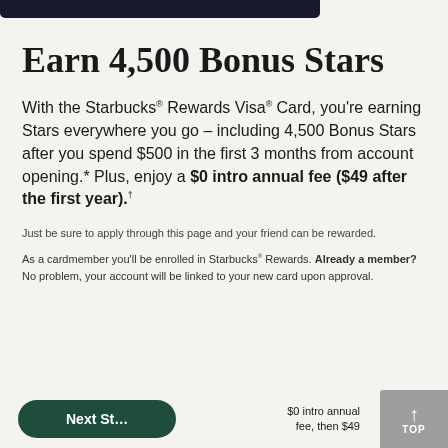[Figure (other): Partial dark banner/image strip at top of page]
Earn 4,500 Bonus Stars
With the Starbucks® Rewards Visa® Card, you're earning Stars everywhere you go – including 4,500 Bonus Stars after you spend $500 in the first 3 months from account opening.* Plus, enjoy a $0 intro annual fee ($49 after the first year).†
Just be sure to apply through this page and your friend can be rewarded.
As a cardmember you'll be enrolled in Starbucks® Rewards. Already a member? No problem, your account will be linked to your new card upon approval.
$0 intro annual fee, then $49